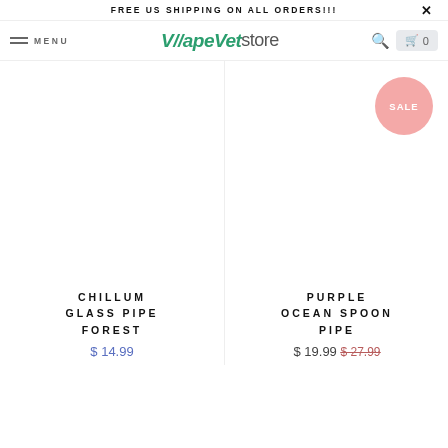FREE US SHIPPING ON ALL ORDERS!!!
MENU | VapeVetstore | 0
[Figure (other): White product image area for Chillum Glass Pipe Forest]
[Figure (other): White product image area for Purple Ocean Spoon Pipe with SALE badge]
CHILLUM GLASS PIPE FOREST
$ 14.99
PURPLE OCEAN SPOON PIPE
$ 19.99 $ 27.99